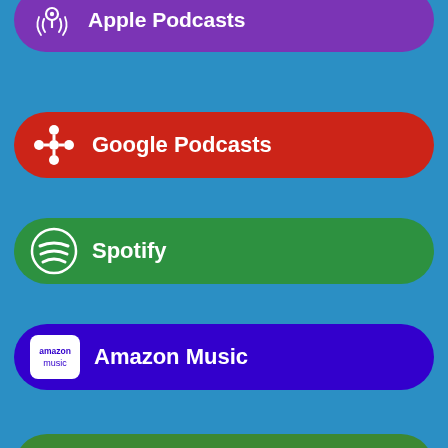[Figure (infographic): List of podcast/music platform buttons: Apple Podcasts (purple), Google Podcasts (red), Spotify (green), Amazon Music (blue-purple), Android (green), Pandora (blue), iHeartRadio (dark red)]